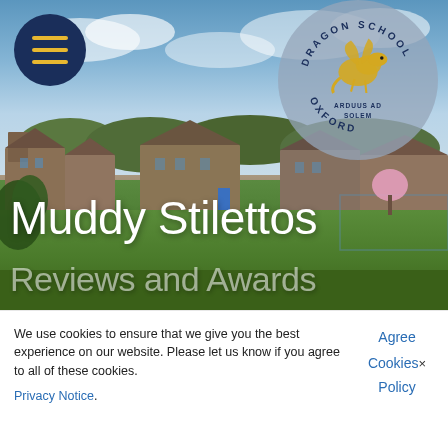[Figure (photo): Aerial/elevated view of Dragon School Oxford campus with brick buildings, green playing fields, and spring trees under a blue cloudy sky. Dragon School logo badge overlaid in upper right. Hamburger menu button in upper left.]
Muddy Stilettos
Reviews and Awards
We use cookies to ensure that we give you the best experience on our website. Please let us know if you agree to all of these cookies.
Privacy Notice.